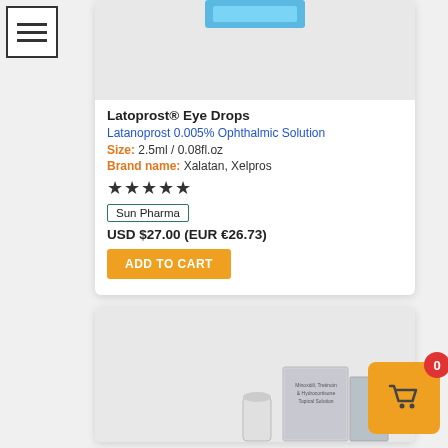[Figure (screenshot): Menu/hamburger icon in top-left corner with three horizontal lines inside a bordered square]
[Figure (photo): Latoprost Eye Drops product image showing blue cap of eye drop bottle on gray background]
Latoprost® Eye Drops
Latanoprost 0.005% Ophthalmic Solution
Size: 2.5ml / 0.08fl.oz
Brand name: Xalatan, Xelpros
★★★★★
Sun Pharma
USD $27.00 (EUR €26.73)
ADD TO CART
[Figure (photo): Second product card showing Minoxidil, Tretinoin & Hydrocortisone Topical Solution box and container on gray background]
[Figure (infographic): Orange cart button with red badge showing 0 in bottom-right corner]